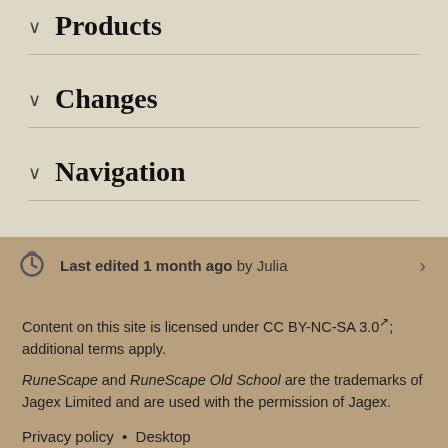✓ Products
✓ Changes
✓ Navigation
Last edited 1 month ago by Julia
Content on this site is licensed under CC BY-NC-SA 3.0; additional terms apply. RuneScape and RuneScape Old School are the trademarks of Jagex Limited and are used with the permission of Jagex.
Privacy policy • Desktop